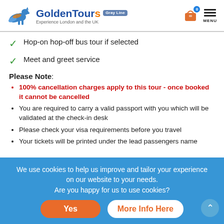GoldenTours Gray Line — Experience London and the UK
Hop-on hop-off bus tour if selected
Meet and greet service
Please Note:
100% cancellation charges apply to this tour - once booked it cannot be cancelled
You are required to carry a valid passport with you which will be validated at the check-in desk
Please check your visa requirements before you travel
Your tickets will be printed under the lead passengers name
We use cookies to help us improve and tailor your experience on our website to your needs. Are you happy for us to use cookies?